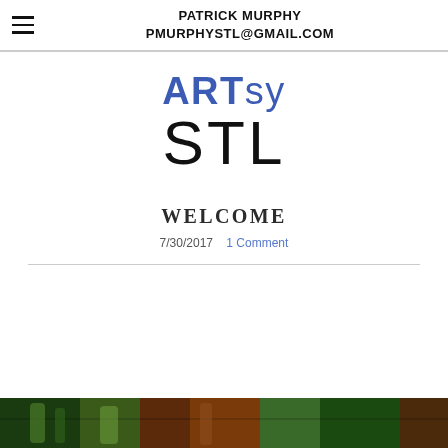PATRICK MURPHY
PMURPHYSTL@GMAIL.COM
[Figure (logo): ARTsy STL logo — 'ARTsy' in blue with 'ART' bold and 'sy' lighter weight, 'STL' in large black text below]
WELCOME
7/30/2017   1 Comment
[Figure (photo): Partial bottom image showing colorful artistic content, cut off at page bottom]